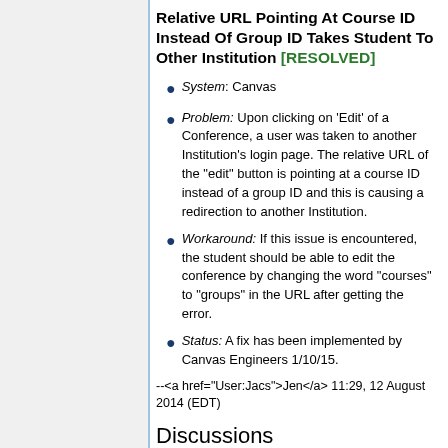Relative URL Pointing At Course ID Instead Of Group ID Takes Student To Other Institution [RESOLVED]
System: Canvas
Problem: Upon clicking on 'Edit' of a Conference, a user was taken to another Institution's login page. The relative URL of the "edit" button is pointing at a course ID instead of a group ID and this is causing a redirection to another Institution.
Workaround: If this issue is encountered, the student should be able to edit the conference by changing the word "courses" to "groups" in the URL after getting the error.
Status: A fix has been implemented by Canvas Engineers 1/10/15.
--<a href="User:Jacs">Jen</a> 11:29, 12 August 2014 (EDT)
Discussions